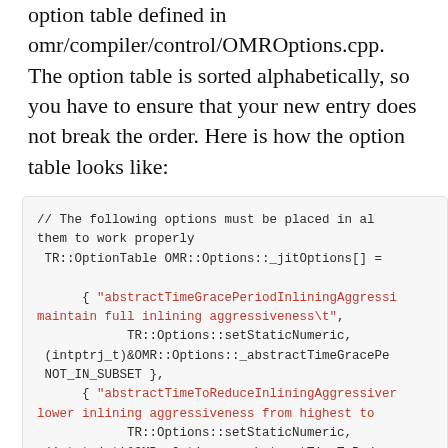option table defined in omr/compiler/control/OMROptions.cpp.  The option table is sorted alphabetically, so you have to ensure that your new entry does not break the order. Here is how the option table looks like:
[Figure (screenshot): Code block showing C++ option table entries with comments and string literals in red, regular code in dark gray, on a light gray background.]